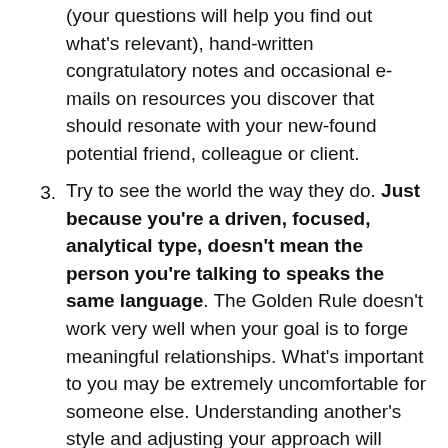(your questions will help you find out what's relevant), hand-written congratulatory notes and occasional e-mails on resources you discover that should resonate with your new-found potential friend, colleague or client.
Try to see the world the way they do. Just because you're a driven, focused, analytical type, doesn't mean the person you're talking to speaks the same language. The Golden Rule doesn't work very well when your goal is to forge meaningful relationships. What's important to you may be extremely uncomfortable for someone else. Understanding another's style and adjusting your approach will make you more appreciated and memorable than most.